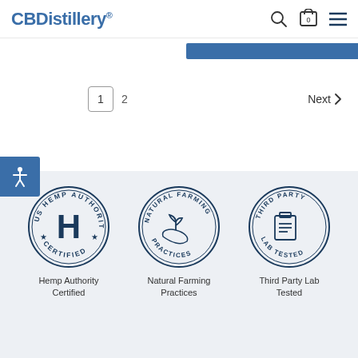CBDDistillery®
[Figure (screenshot): Blue button/banner bar partially visible at top right]
1  2  Next >
[Figure (logo): Accessibility icon button (person with arms out) on blue background]
[Figure (illustration): Three circular badge seals: 'US Hemp Authority Certified' with H logo, 'Natural Farming Practices' with plant-in-hand logo, 'Third Party Lab Tested' with clipboard logo]
Hemp Authority Certified
Natural Farming Practices
Third Party Lab Tested